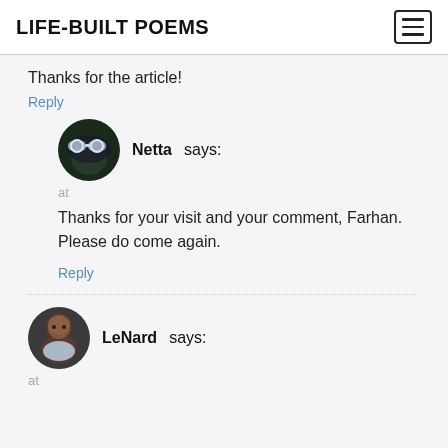LIFE-BUILT POEMS
Thanks for the article!
Reply
Netta says:
at
Thanks for your visit and your comment, Farhan. Please do come again.
Reply
LeNard says:
at